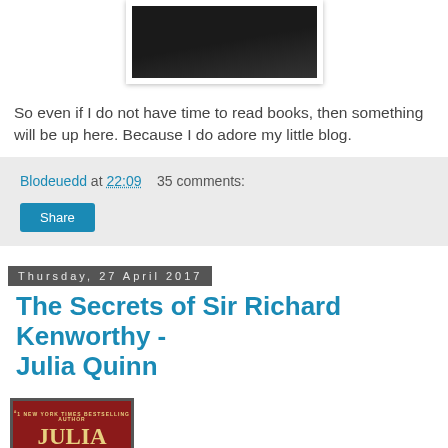[Figure (photo): Partial book cover image showing dark background, top portion only]
So even if I do not have time to read books, then something will be up here. Because I do adore my little blog.
Blodeuedd at 22:09    35 comments:
Share
Thursday, 27 April 2017
The Secrets of Sir Richard Kenworthy - Julia Quinn
[Figure (photo): Book cover for Julia Quinn novel showing author name in gold letters on dark red background]